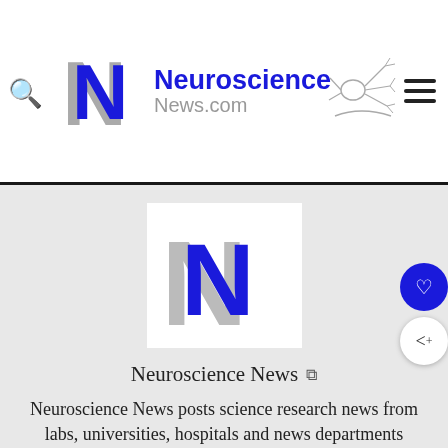[Figure (logo): Neuroscience News logo with NN monogram letters (blue N overlaid on gray N) and site name 'Neuroscience News.com' with neuron illustration]
[Figure (logo): Large NN monogram logo inside white box on gray background]
Neuroscience News ↗
Neuroscience News posts science research news from labs, universities, hospitals and news departments around the world.
[Figure (other): Advertisement banner: In-store shopping ad with circular logo, checkmark, diamond arrow icon, and close button]